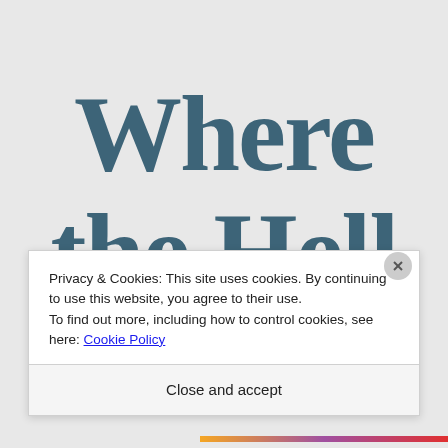Where the Hell
Privacy & Cookies: This site uses cookies. By continuing to use this website, you agree to their use.
To find out more, including how to control cookies, see here: Cookie Policy
Close and accept